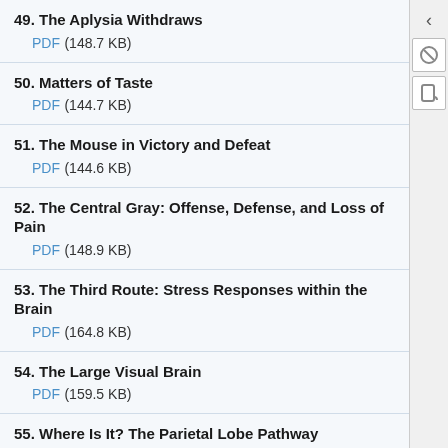49. The Aplysia Withdraws
PDF (148.7 KB)
50. Matters of Taste
PDF (144.7 KB)
51. The Mouse in Victory and Defeat
PDF (144.6 KB)
52. The Central Gray: Offense, Defense, and Loss of Pain
PDF (148.9 KB)
53. The Third Route: Stress Responses within the Brain
PDF (164.8 KB)
54. The Large Visual Brain
PDF (159.5 KB)
55. Where Is It? The Parietal Lobe Pathway
PDF (156.6 KB)
56. What Is It? The Temporal Lobe Pathway